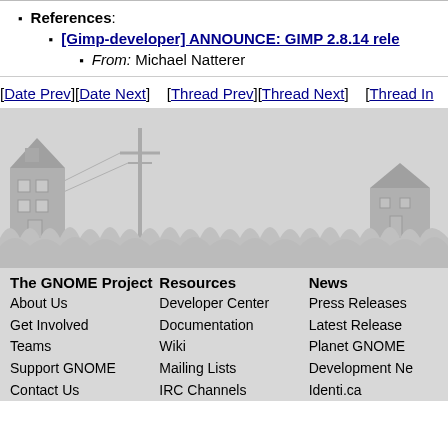References:
[Gimp-developer] ANNOUNCE: GIMP 2.8.14 rele…
From: Michael Natterer
[Date Prev][Date Next]    [Thread Prev][Thread Next]    [Thread In…
[Figure (illustration): Decorative GNOME project website footer landscape with silhouettes of buildings, a telegraph pole, and grass in grey tones.]
The GNOME Project
About Us
Get Involved
Teams
Support GNOME
Contact Us
Resources
Developer Center
Documentation
Wiki
Mailing Lists
IRC Channels
News
Press Releases
Latest Release
Planet GNOME
Development Ne…
Identi.ca